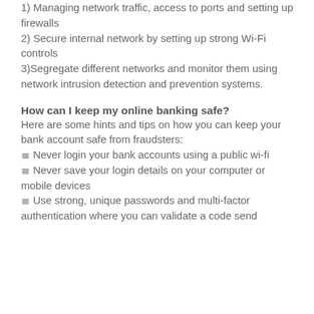1) Managing network traffic, access to ports and setting up firewalls
2) Secure internal network by setting up strong Wi-Fi controls
3) Segregate different networks and monitor them using network intrusion detection and prevention systems.
How can I keep my online banking safe?
Here are some hints and tips on how you can keep your bank account safe from fraudsters:
Never login your bank accounts using a public wi-fi
Never save your login details on your computer or mobile devices
Use strong, unique passwords and multi-factor authentication where you can validate a code send